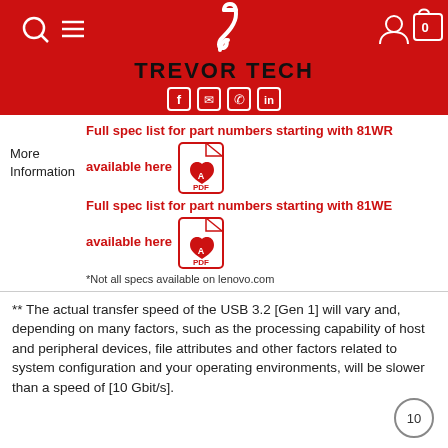[Figure (logo): Trevor Tech website header with red background, treble hook logo, brand name TREVOR TECH, social media icons, search and menu icons, and cart icon showing 0]
More Information
Full spec list for part numbers starting with 81WR available here [PDF icon]
Full spec list for part numbers starting with 81WE available here [PDF icon]
*Not all specs available on lenovo.com
** The actual transfer speed of the USB 3.2 [Gen 1] will vary and, depending on many factors, such as the processing capability of host and peripheral devices, file attributes and other factors related to system configuration and your operating environments, will be slower than a speed of [10 Gbit/s].